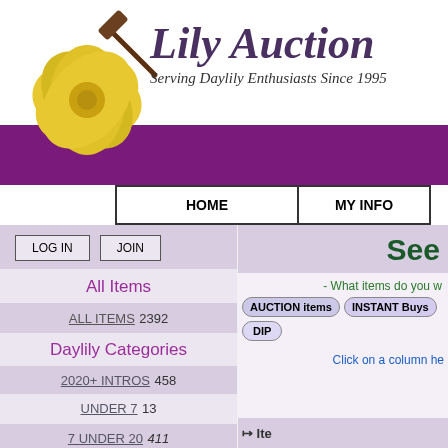[Figure (logo): Lily Auction logo with yellow hibiscus flower and gavel, text reads Lily Auction, Serving Daylily Enthusiasts Since 1995]
Lily Auction
Serving Daylily Enthusiasts Since 1995
| HOME | MY INFO |
| --- | --- |
LOG IN  JOIN
All Items
ALL ITEMS 2392
Daylily Categories
2020+ INTROS 458
UNDER 7 13
7 UNDER 20 411
20 & OVER 337
See
- What items do you w
AUCTION items  INSTANT Buys  DIP
Click on a column he
Item